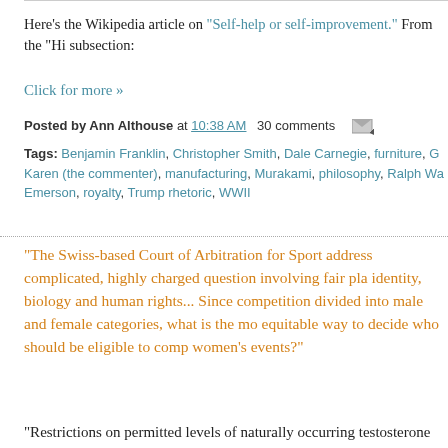Here's the Wikipedia article on "Self-help or self-improvement." From the "Hi subsection:
Click for more »
Posted by Ann Althouse at 10:38 AM  30 comments
Tags: Benjamin Franklin, Christopher Smith, Dale Carnegie, furniture, G Karen (the commenter), manufacturing, Murakami, philosophy, Ralph Wa Emerson, royalty, Trump rhetoric, WWII
"The Swiss-based Court of Arbitration for Sport address complicated, highly charged question involving fair pla identity, biology and human rights... Since competition divided into male and female categories, what is the mo equitable way to decide who should be eligible to comp women's events?"
"Restrictions on permitted levels of naturally occurring testosterone are discri